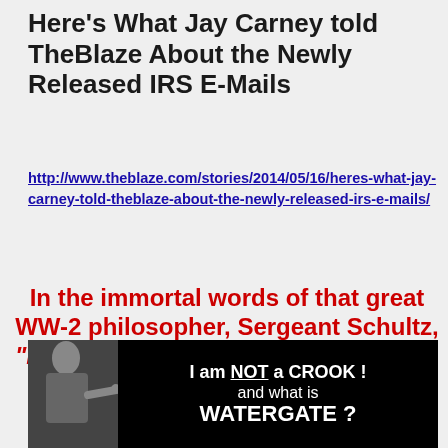Here's What Jay Carney told TheBlaze About the Newly Released IRS E-Mails
http://www.theblaze.com/stories/2014/05/16/heres-what-jay-carney-told-theblaze-about-the-newly-released-irs-e-mails/
In the immortal words of that great WW-2 philosopher, Sergeant Schultz, "I KNOW NOTH-THING, NOTHING" !!!
[Figure (photo): Black banner image showing a person pointing with text: 'I am NOT a CROOK! and what is WATERGATE?']